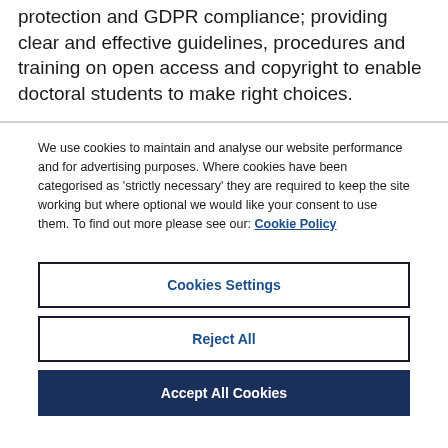Overall, I think the key messages were around data protection and GDPR compliance; providing clear and effective guidelines, procedures and training on open access and copyright to enable doctoral students to make right choices.
We use cookies to maintain and analyse our website performance and for advertising purposes. Where cookies have been categorised as 'strictly necessary' they are required to keep the site working but where optional we would like your consent to use them. To find out more please see our: Cookie Policy
Cookies Settings
Reject All
Accept All Cookies